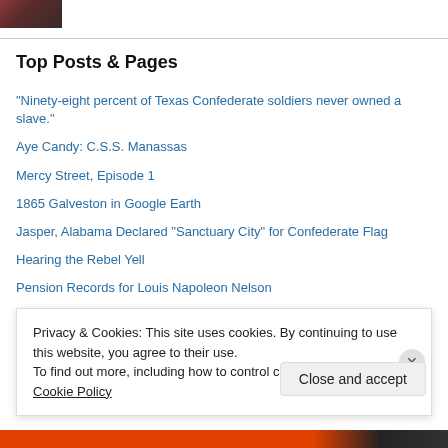[Figure (photo): Small photo of a person in the top left corner]
Top Posts & Pages
"Ninety-eight percent of Texas Confederate soldiers never owned a slave."
Aye Candy: C.S.S. Manassas
Mercy Street, Episode 1
1865 Galveston in Google Earth
Jasper, Alabama Declared "Sanctuary City" for Confederate Flag
Hearing the Rebel Yell
Pension Records for Louis Napoleon Nelson
"Forced" to Fire the First Shot
Privacy & Cookies: This site uses cookies. By continuing to use this website, you agree to their use.
To find out more, including how to control cookies, see here: Cookie Policy
Close and accept